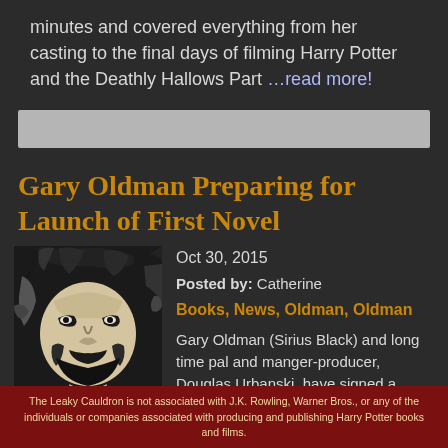minutes and covered everything from her casting to the final days of filming Harry Potter and the Deathly Hallows Part …read more!
[Figure (other): Advertisement banner placeholder (gray bar)]
Gary Oldman Preparing for Launch of First Novel
[Figure (photo): Black and white high-contrast stylized portrait of Gary Oldman]
Oct 30, 2015
Posted by: Catherine
Books, News, Oldman, Oldman
Gary Oldman (Sirius Black) and long time pal and manger-producer, Douglas Urbanski, have signed a publishing deal with
The Leaky Cauldron is not associated with J.K. Rowling, Warner Bros., or any of the individuals or companies associated with producing and publishing Harry Potter books and films.